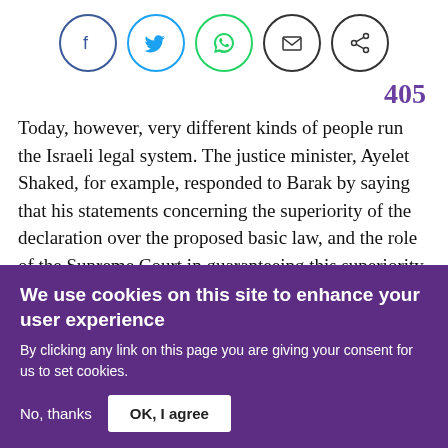[Figure (other): Social media share icons: Facebook, Twitter, WhatsApp, Email, Share — each in a circle]
405
Today, however, very different kinds of people run the Israeli legal system. The justice minister, Ayelet Shaked, for example, responded to Barak by saying that his statements concerning the superiority of the declaration over the proposed basic law, and the role of the Supreme Court in guaranteeing this superiority through judicial review, “demolishes democracy, since it is the Knesset that
We use cookies on this site to enhance your user experience
By clicking any link on this page you are giving your consent for us to set cookies.
No, thanks
OK, I agree